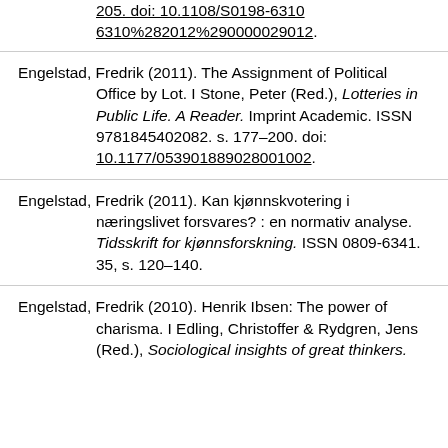205. doi: 10.1108/S0198-6310%282012%290000029012.
Engelstad, Fredrik (2011). The Assignment of Political Office by Lot. I Stone, Peter (Red.), Lotteries in Public Life. A Reader. Imprint Academic. ISSN 9781845402082. s. 177–200. doi: 10.1177/053901889028001002.
Engelstad, Fredrik (2011). Kan kjønnskvotering i næringslivet forsvares? : en normativ analyse. Tidsskrift for kjønnsforskning. ISSN 0809-6341. 35, s. 120–140.
Engelstad, Fredrik (2010). Henrik Ibsen: The power of charisma. I Edling, Christoffer & Rydgren, Jens (Red.), Sociological insights of great thinkers.